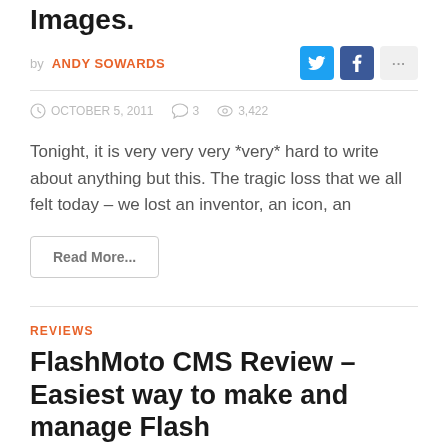Images.
by ANDY SOWARDS
OCTOBER 5, 2011   3   3,422
Tonight, it is very very very *very* hard to write about anything but this. The tragic loss that we all felt today – we lost an inventor, an icon, an
Read More...
REVIEWS
FlashMoto CMS Review – Easiest way to make and manage Flash